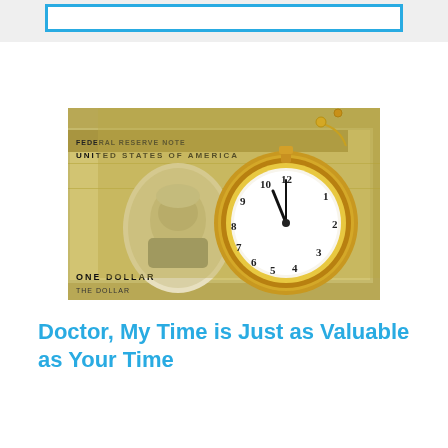[Figure (photo): A gold pocket watch resting on top of US dollar bills, symbolizing time and money.]
Doctor, My Time is Just as Valuable as Your Time